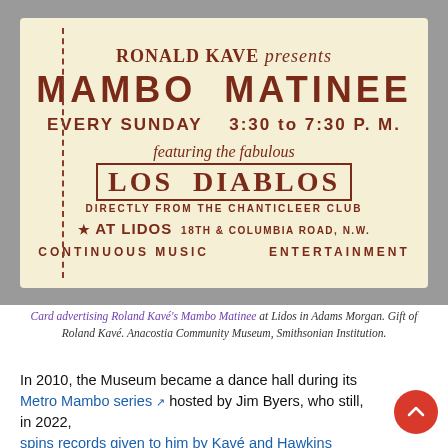[Figure (photo): Vintage advertising card for Ronald Kave's Mambo Matinee at Lidos, featuring Los Diablos, every Sunday 3:30 to 7:30 P.M., at 18th & Columbia Road N.W.]
Card advertising Roland Kavé's Mambo Matinee at Lidos in Adams Morgan. Gift of Roland Kavé. Anacostia Community Museum, Smithsonian Institution.
In 2010, the Museum became a dance hall during its Metro Mambo series hosted by Jim Byers, who still, in 2022, spins records given to him by Kavé and Hawkins on his radio